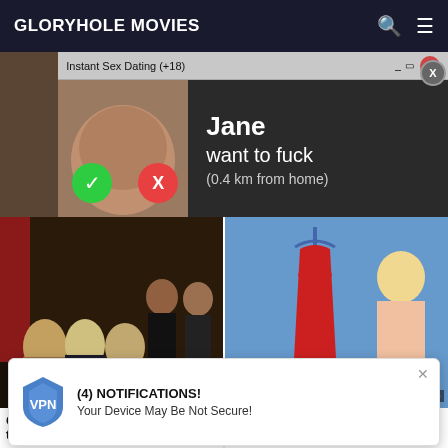GLORYHOLE MOVIES
[Figure (screenshot): Adult dating advertisement popup overlay showing 'Instant Sex Dating (+18)' with a profile image and name 'Jane want to fuck (0.4 km from home)' with accept/decline buttons]
[Figure (photo): Left video thumbnail: CFNM adult content scene with multiple people, watermark 'CFNMconte']
[Figure (photo): Right video thumbnail: Brazzers adult content scene with woman and red dress on hanger, watermark 'BRAZZERS.co']
CFNM babes at the gloryhole tugging
Busty whore anally pounded
babe, cfm
8:00
28 May
[Figure (infographic): Notification popup: VPN shield icon, '(4) NOTIFICATIONS! Your Device May Be Not Secure!']